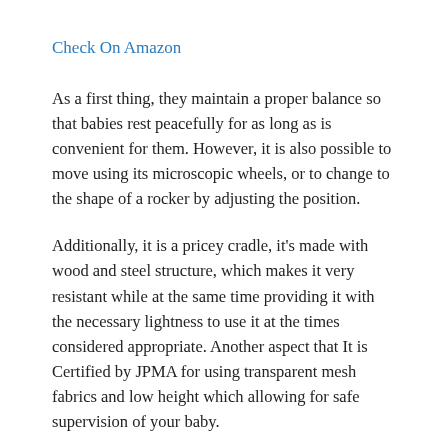Check On Amazon
As a first thing, they maintain a proper balance so that babies rest peacefully for as long as is convenient for them. However, it is also possible to move using its microscopic wheels, or to change to the shape of a rocker by adjusting the position.
Additionally, it is a pricey cradle, it's made with wood and steel structure, which makes it very resistant while at the same time providing it with the necessary lightness to use it at the times considered appropriate. Another aspect that It is Certified by JPMA for using transparent mesh fabrics and low height which allowing for safe supervision of your baby.